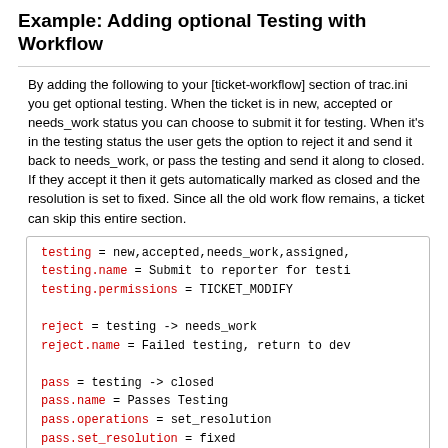Example: Adding optional Testing with Workflow
By adding the following to your [ticket-workflow] section of trac.ini you get optional testing. When the ticket is in new, accepted or needs_work status you can choose to submit it for testing. When it's in the testing status the user gets the option to reject it and send it back to needs_work, or pass the testing and send it along to closed. If they accept it then it gets automatically marked as closed and the resolution is set to fixed. Since all the old work flow remains, a ticket can skip this entire section.
[Figure (screenshot): Code block showing workflow configuration: testing = new,accepted,needs_work,assigned, / testing.name = Submit to reporter for testi / testing.permissions = TICKET_MODIFY / reject = testing -> needs_work / reject.name = Failed testing, return to dev / pass = testing -> closed / pass.name = Passes Testing / pass.operations = set_resolution / pass.set_resolution = fixed]
How to combine the tracopt.ticket.commit_updater with the testing workflow
The tracopt.ticket.commit_updater is the optional component that replaces the old trac-post-commit-hook, in Trac 0.12.